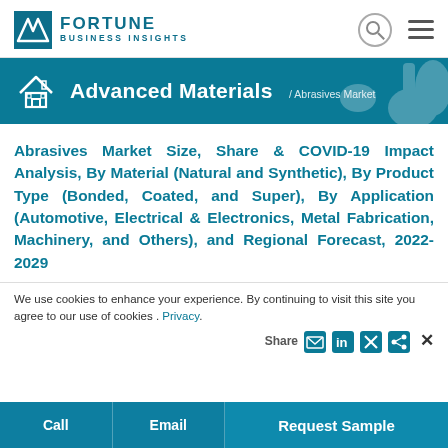Fortune Business Insights — Advanced Materials / Abrasives Market
Abrasives Market Size, Share & COVID-19 Impact Analysis, By Material (Natural and Synthetic), By Product Type (Bonded, Coated, and Super), By Application (Automotive, Electrical & Electronics, Metal Fabrication, Machinery, and Others), and Regional Forecast, 2022-2029
We use cookies to enhance your experience. By continuing to visit this site you agree to our use of cookies . Privacy.
Call | Email | Request Sample